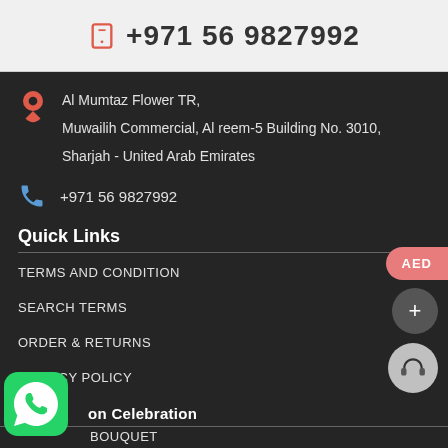+971 56 9827992
Al Mumtaz Flower TR,
Muwailih Commercial, Al reem-5 Building No. 3010,
Sharjah - United Arab Emirates
+971 56 9827992
Quick Links
TERMS AND CONDITION
SEARCH TERMS
ORDER & RETURNS
PRIVACY POLICY
Occasion Celebration
BOUQUET